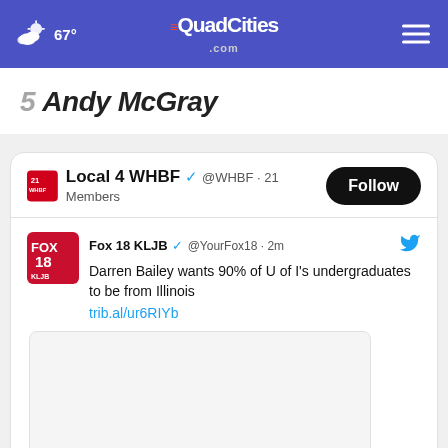67° TheQuadCities.com
Andy McGray
Tweets from OurQuadCities
Local 4 WHBF @WHBF · 21 Members
Fox 18 KLJB @YourFox18 · 2m
Darren Bailey wants 90% of U of I's undergraduates to be from Illinois
trib.al/ur6RIYb